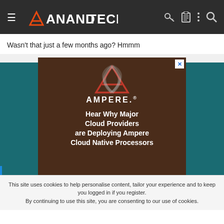AnandTech
Wasn't that just a few months ago? Hmmm
[Figure (advertisement): Ampere advertisement showing the Ampere logo (red triangle A with brand name) and text: Hear Why Major Cloud Providers are Deploying Ampere Cloud Native Processors, on a dark brown background]
This site uses cookies to help personalise content, tailor your experience and to keep you logged in if you register.
By continuing to use this site, you are consenting to our use of cookies.